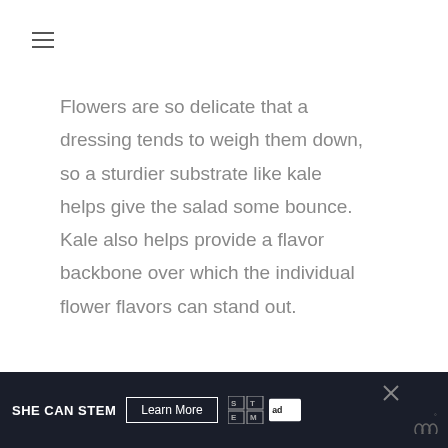≡
Flowers are so delicate that a dressing tends to weigh them down, so a sturdier substrate like kale helps give the salad some bounce. Kale also helps provide a flavor backbone over which the individual flower flavors can stand out.
[Figure (infographic): Green circular like/heart button with count 45 and a share button below]
[Figure (infographic): She Can Stem advertisement banner with Learn More button, STEM and Ad Council logos]